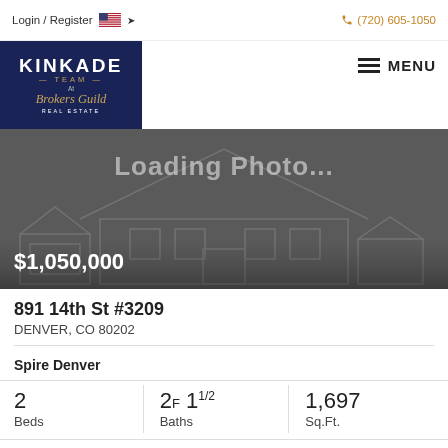Login / Register  (720) 605-1050
[Figure (logo): Kinkade Team at Brokers Guild Real Estate logo on dark navy background]
[Figure (screenshot): Loading Photo placeholder with house outline silhouette on dark grey background]
$1,050,000
891 14th St #3209
DENVER, CO 80202
Spire Denver
2 Beds
2F 1 1/2 Baths
1,697 Sq.Ft.
Liv Sotheby's International Realty